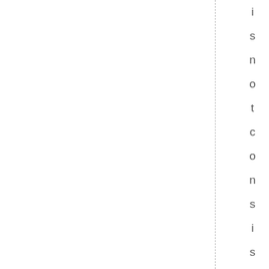is not consistent with the hy...